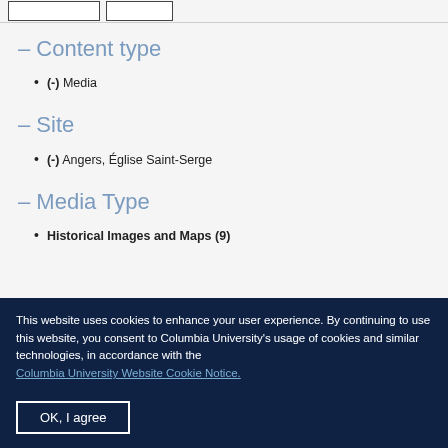- Content type
(-) Media
- Site
(-) Angers, Église Saint-Serge
- Media Type
Historical Images and Maps (9)
This website uses cookies to enhance your user experience. By continuing to use this website, you consent to Columbia University's usage of cookies and similar technologies, in accordance with the Columbia University Website Cookie Notice.
OK, I agree